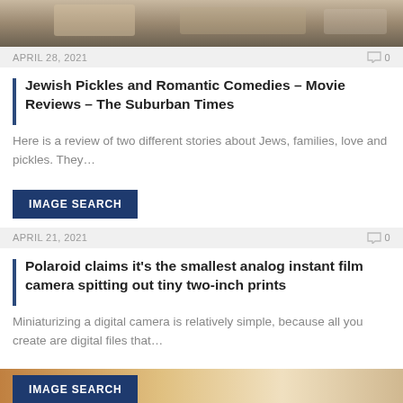[Figure (photo): Top cropped photo showing people at a table]
APRIL 28, 2021   💬 0
Jewish Pickles and Romantic Comedies – Movie Reviews – The Suburban Times
Here is a review of two different stories about Jews, families, love and pickles. They…
[Figure (other): IMAGE SEARCH button]
APRIL 21, 2021   💬 0
Polaroid claims it's the smallest analog instant film camera spitting out tiny two-inch prints
Miniaturizing a digital camera is relatively simple, because all you create are digital files that…
[Figure (photo): IMAGE SEARCH button overlaid on bottom image]